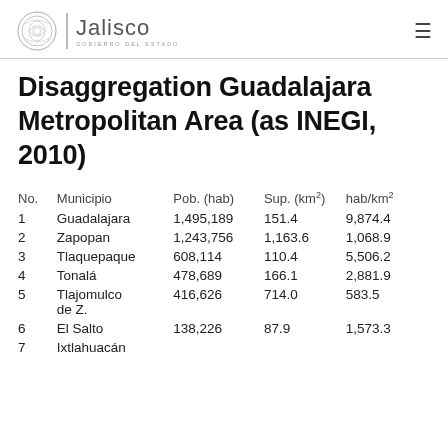Jalisco | Gobierno del Estado
Disaggregation Guadalajara Metropolitan Area (as INEGI, 2010)
| No. | Municipio | Pob. (hab) | Sup. (km²) | hab/km² |
| --- | --- | --- | --- | --- |
| 1 | Guadalajara | 1,495,189 | 151.4 | 9,874.4 |
| 2 | Zapopan | 1,243,756 | 1,163.6 | 1,068.9 |
| 3 | Tlaquepaque | 608,114 | 110.4 | 5,506.2 |
| 4 | Tonalá | 478,689 | 166.1 | 2,881.9 |
| 5 | Tlajomulco de Z. | 416,626 | 714.0 | 583.5 |
| 6 | El Salto | 138,226 | 87.9 | 1,573.3 |
| 7 | Ixtlahuacán... |  |  |  |